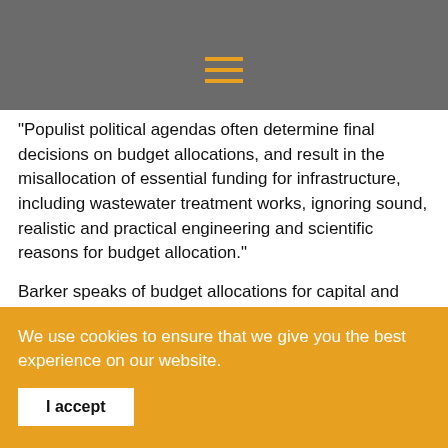[hamburger menu icon]
"Populist political agendas often determine final decisions on budget allocations, and result in the misallocation of essential funding for infrastructure, including wastewater treatment works, ignoring sound, realistic and practical engineering and scientific reasons for budget allocation."
Barker speaks of budget allocations for capital and operating infrastructural projects not fully used within the financial year periods, with the unspent money being reallocated to other perhaps less essential projects — “lost for infrastructural development, maintenance and repairs”
We use cookies to ensure that we give you the best experience on our website.
I accept